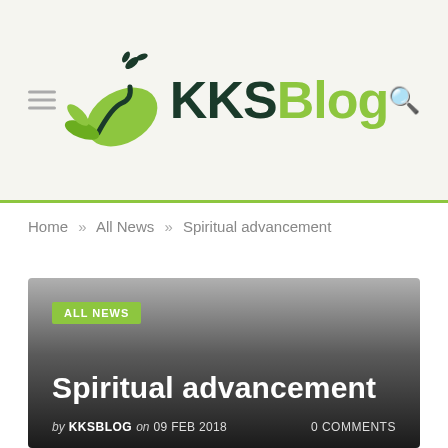KKSBlog
Home » All News » Spiritual advancement
[Figure (screenshot): KKSBlog article hero image with gradient background showing category tag ALL NEWS, article title Spiritual advancement, and byline: by KKSBLOG on 09 FEB 2018, 0 COMMENTS]